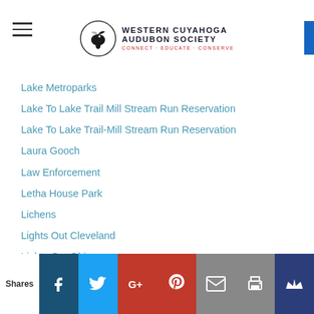Western Cuyahoga Audubon Society - CONNECT · EDUCATE · CONSERVE
Lake Metroparks
Lake To Lake Trail Mill Stream Run Reservation
Lake To Lake Trail-Mill Stream Run Reservation
Laura Gooch
Law Enforcement
Letha House Park
Lichens
Lights Out Cleveland
Lights Out Ohio
Liz McQuaid
Lorain And Sheffield Lake Boat Ramp And Beach
Lorain County Metro Parks
Lorain Harbor
Lorain Impoundment Lakeside Landing
Lorain Metro Parks
Shares | Facebook | Twitter | Google+ | Pinterest | Email | Print | Crown